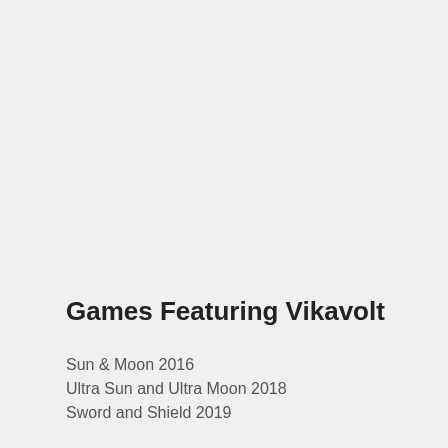Games Featuring Vikavolt
Sun & Moon 2016
Ultra Sun and Ultra Moon 2018
Sword and Shield 2019